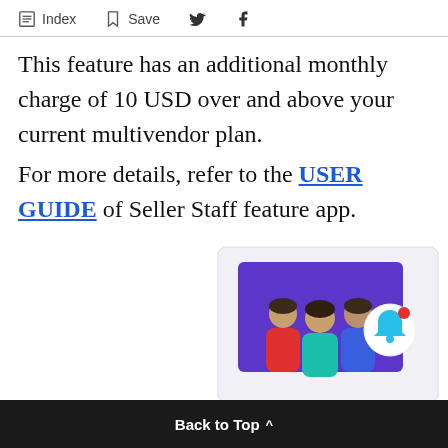Index  Save
This feature has an additional monthly charge of 10 USD over and above your current multivendor plan.
For more details, refer to the USER GUIDE of Seller Staff feature app.
[Figure (illustration): Illustration showing a group of three people (seller staff) with a notification bell icon in a card-style UI element with purple background]
Back to Top ^